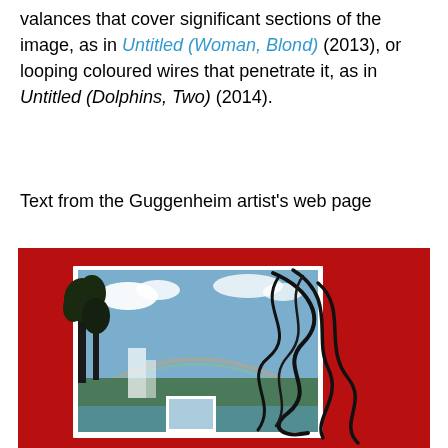valances that cover significant sections of the image, as in Untitled (Woman, Blond) (2013), or looping coloured wires that penetrate it, as in Untitled (Dolphins, Two) (2014).
Text from the Guggenheim artist's web page
[Figure (photo): Artwork photograph showing a red felt background with a landscape photograph (trees, waterfall, sky with clouds) mounted on it, and black looping wires overlaid on the right side of the photograph.]